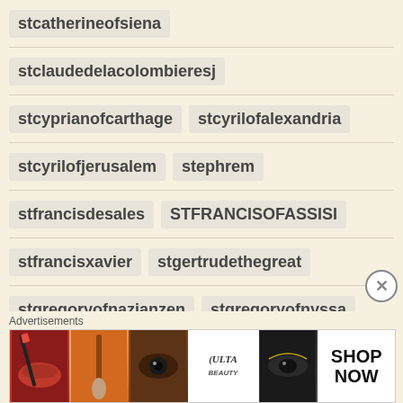stcatherineofsiena
stclaudedelacolombieresj
stcyprianofcarthage  stcyrilofalexandria
stcyrilofjerusalem  stephrem
stfrancisdesales  STFRANCISOFASSISI
stfrancisxavier  stgertrudethegreat
stgregoryofnazianzen  stgregoryofnyssa
sthilaryofpoitiers  stignatiusloyola
stignatiusofantioch  stlrenaeus  stjerome
stiohnbosco  stiohnchrysostom
Advertisements
[Figure (screenshot): ULTA beauty advertisement banner with makeup images and SHOP NOW call to action]